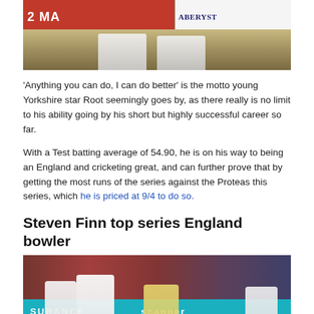[Figure (photo): Cricket players on field with red and white advertisement banners including MAN and ABERYST]
'Anything you can do, I can do better' is the motto young Yorkshire star Root seemingly goes by, as there really is no limit to his ability going by his short but highly successful career so far.
With a Test batting average of 54.90, he is on his way to being an England and cricketing great, and can further prove that by getting the most runs of the series against the Proteas this series, which he is priced at 9/4 to do so.
Steven Finn top series England bowler
[Figure (photo): Cricket match photo showing England players celebrating a wicket, with advertisement banners for SURANCE and scanner visible, players in white England cricket uniforms and one Australian batsman in yellow helmet]